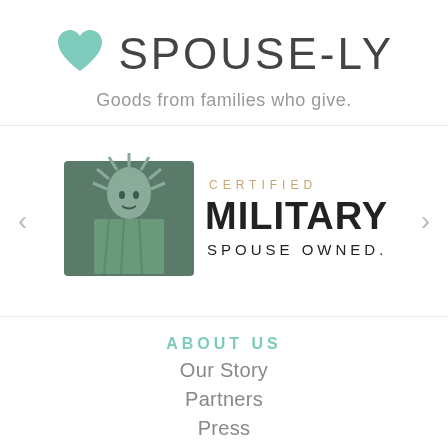♥ SPOUSE-LY
Goods from families who give.
[Figure (logo): Certified Military Spouse Owned badge with Statue of Liberty graphic]
ABOUT US
Our Story
Partners
Press
Contact Us
Podcast